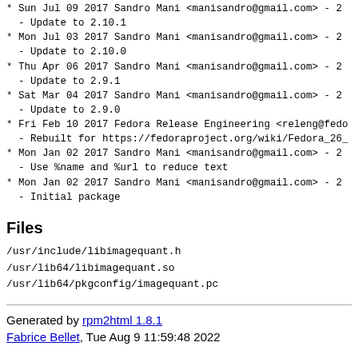* Sun Jul 09 2017 Sandro Mani <manisandro@gmail.com> - 2
  - Update to 2.10.1
* Mon Jul 03 2017 Sandro Mani <manisandro@gmail.com> - 2
  - Update to 2.10.0
* Thu Apr 06 2017 Sandro Mani <manisandro@gmail.com> - 2
  - Update to 2.9.1
* Sat Mar 04 2017 Sandro Mani <manisandro@gmail.com> - 2
  - Update to 2.9.0
* Fri Feb 10 2017 Fedora Release Engineering <releng@fedo
  - Rebuilt for https://fedoraproject.org/wiki/Fedora_26_
* Mon Jan 02 2017 Sandro Mani <manisandro@gmail.com> - 2
  - Use %name and %url to reduce text
* Mon Jan 02 2017 Sandro Mani <manisandro@gmail.com> - 2
  - Initial package
Files
/usr/include/libimagequant.h
/usr/lib64/libimagequant.so
/usr/lib64/pkgconfig/imagequant.pc
Generated by rpm2html 1.8.1
Fabrice Bellet, Tue Aug 9 11:59:48 2022